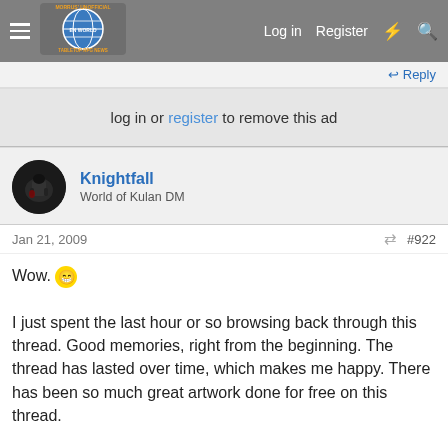MORRUS' UNOFFICIAL TABLETOP RPG NEWS | Log in  Register
Reply
log in or register to remove this ad
Knightfall
World of Kulan DM
Jan 21, 2009  #922
Wow. 😁

I just spent the last hour or so browsing back through this thread. Good memories, right from the beginning. The thread has lasted over time, which makes me happy. There has been so much great artwork done for free on this thread.